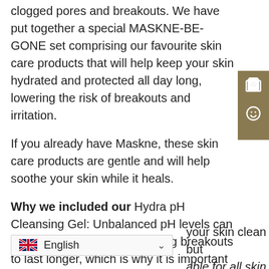clogged pores and breakouts. We have put together a special MASKNE-BE-GONE set comprising our favourite skin care products that will help keep your skin hydrated and protected all day long, lowering the risk of breakouts and irritation.
If you already have Maskne, these skin care products are gentle and will help soothe your skin while it heals.
Why we included our Hydra pH Cleansing Gel: Unbalanced pH levels can trigger acne and cause existing breakouts to last longer, which is why it is important to keep your skin's pH level just right. Our cleansing gel is the first step in your skin care routine and we want to start on the right note.
your skin clean but able for all skin types. If